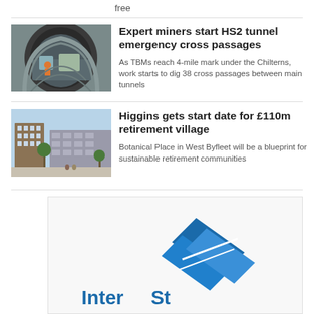free
[Figure (photo): Workers inside a large circular tunnel under construction with heavy machinery visible]
Expert miners start HS2 tunnel emergency cross passages
As TBMs reach 4-mile mark under the Chilterns, work starts to dig 38 cross passages between main tunnels
[Figure (photo): Modern multi-storey residential brick apartment buildings with balconies and trees in foreground]
Higgins gets start date for £110m retirement village
Botanical Place in West Byfleet will be a blueprint for sustainable retirement communities
[Figure (logo): Partially visible blue diamond/arrow logo at bottom of page]